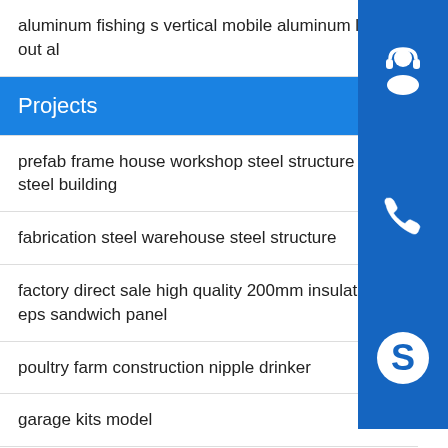aluminum fishing s vertical mobile aluminum lift out al
Projects
prefab frame house workshop steel structure lig steel building
fabrication steel warehouse steel structure
factory direct sale high quality 200mm insulation eps sandwich panel
poultry farm construction nipple drinker
garage kits model